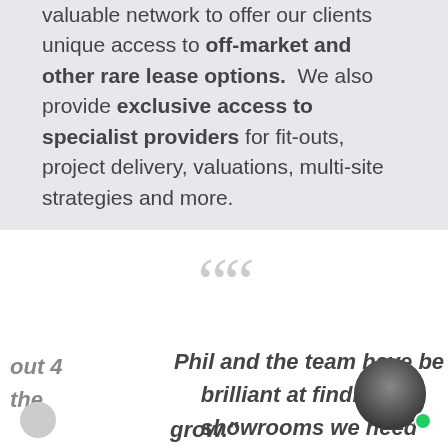valuable network to offer our clients unique access to off-market and other rare lease options. We also provide exclusive access to specialist providers for fit-outs, project delivery, valuations, multi-site strategies and more.
[Figure (illustration): Large decorative opening quotation marks in light gray]
Phil and the team have been brilliant at finding us the showrooms we need to grow.